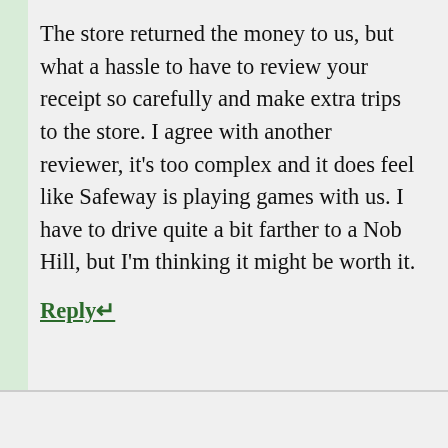The store returned the money to us, but what a hassle to have to review your receipt so carefully and make extra trips to the store. I agree with another reviewer, it's too complex and it does feel like Safeway is playing games with us. I have to drive quite a bit farther to a Nob Hill, but I'm thinking it might be worth it.
Reply↵